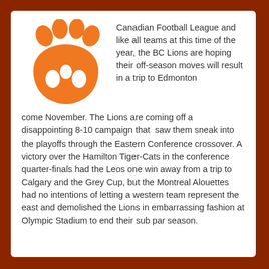[Figure (illustration): Orange paw print logo/icon in the upper left of the white card]
Canadian Football League and like all teams at this time of the year, the BC Lions are hoping their off-season moves will result in a trip to Edmonton come November. The Lions are coming off a disappointing 8-10 campaign that saw them sneak into the playoffs through the Eastern Conference crossover. A victory over the Hamilton Tiger-Cats in the conference quarter-finals had the Leos one win away from a trip to Calgary and the Grey Cup, but the Montreal Alouettes had no intentions of letting a western team represent the east and demolished the Lions in embarrassing fashion at Olympic Stadium to end their sub par season.